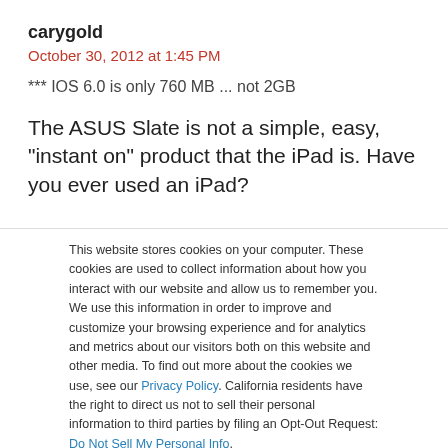carygold
October 30, 2012 at 1:45 PM
*** IOS 6.0 is only 760 MB ... not 2GB
The ASUS Slate is not a simple, easy, "instant on" product that the iPad is. Have you ever used an iPad?
This website stores cookies on your computer. These cookies are used to collect information about how you interact with our website and allow us to remember you. We use this information in order to improve and customize your browsing experience and for analytics and metrics about our visitors both on this website and other media. To find out more about the cookies we use, see our Privacy Policy. California residents have the right to direct us not to sell their personal information to third parties by filing an Opt-Out Request: Do Not Sell My Personal Info.
Accept